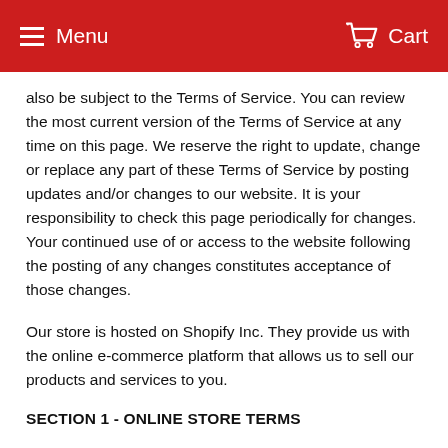Menu  Cart
also be subject to the Terms of Service. You can review the most current version of the Terms of Service at any time on this page. We reserve the right to update, change or replace any part of these Terms of Service by posting updates and/or changes to our website. It is your responsibility to check this page periodically for changes. Your continued use of or access to the website following the posting of any changes constitutes acceptance of those changes.
Our store is hosted on Shopify Inc. They provide us with the online e-commerce platform that allows us to sell our products and services to you.
SECTION 1 - ONLINE STORE TERMS
By agreeing to these Terms of Service, you represent that you are at least the age of majority in your state or province of residence, or that you are the age of majority in your state or province of residence and you have given us your consent to allow any of your minor dependents to use this site.